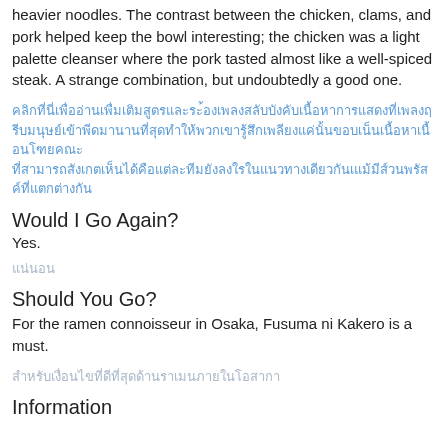heavier noodles. The contrast between the chicken, clams, and pork helped keep the bowl interesting; the chicken was a light palette cleanser where the pork tasted almost like a well-spiced steak. A strange combination, but undoubtedly a good one.
[Thai text - hyperlink and plain text paragraph]
Would I Go Again?
Yes.
[Thai text]
Should You Go?
For the ramen connoisseur in Osaka, Fusuma ni Kakero is a must.
[Thai text]
Information